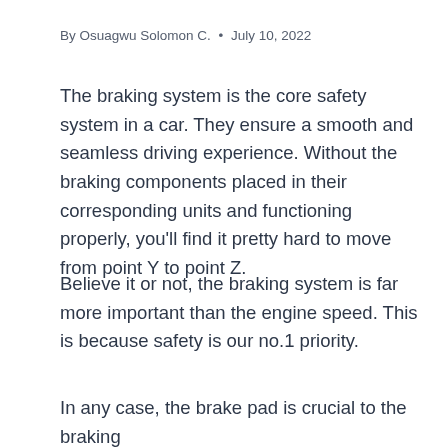By Osuagwu Solomon C. • July 10, 2022
The braking system is the core safety system in a car. They ensure a smooth and seamless driving experience. Without the braking components placed in their corresponding units and functioning properly, you'll find it pretty hard to move from point Y to point Z.
Believe it or not, the braking system is far more important than the engine speed. This is because safety is our no.1 priority.
In any case, the brake pad is crucial to the braking